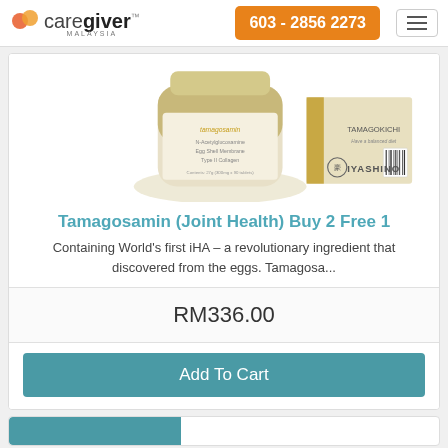[Figure (logo): CareGiver Malaysia logo with orange/red heart icon and stylized text]
603 - 2856 2273
[Figure (photo): Product photo of Tamagosamin joint health supplement bottle and box by Iyashino brand]
Tamagosamin (Joint Health) Buy 2 Free 1
Containing World's first iHA – a revolutionary ingredient that discovered from the eggs. Tamagosa...
RM336.00
Add To Cart